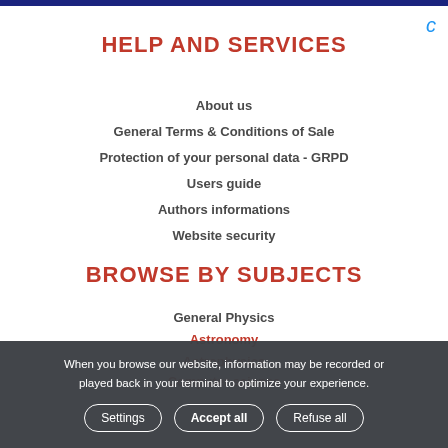HELP AND SERVICES
About us
General Terms & Conditions of Sale
Protection of your personal data - GRPD
Users guide
Authors informations
Website security
BROWSE BY SUBJECTS
General Physics
Astronomy
Astrophysics
Computer science
When you browse our website, information may be recorded or played back in your terminal to optimize your experience.
Settings | Accept all | Refuse all